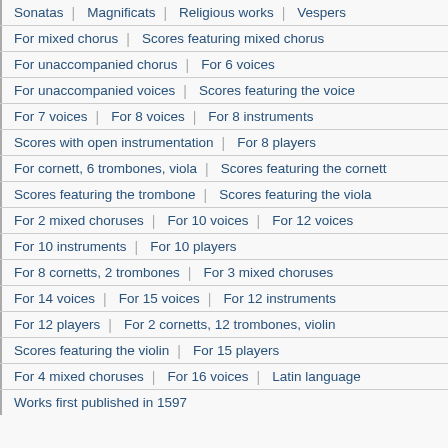Sonatas | Magnificats | Religious works | Vespers
For mixed chorus | Scores featuring mixed chorus
For unaccompanied chorus | For 6 voices
For unaccompanied voices | Scores featuring the voice
For 7 voices | For 8 voices | For 8 instruments
Scores with open instrumentation | For 8 players
For cornett, 6 trombones, viola | Scores featuring the cornett
Scores featuring the trombone | Scores featuring the viola
For 2 mixed choruses | For 10 voices | For 12 voices
For 10 instruments | For 10 players
For 8 cornetts, 2 trombones | For 3 mixed choruses
For 14 voices | For 15 voices | For 12 instruments
For 12 players | For 2 cornetts, 12 trombones, violin
Scores featuring the violin | For 15 players
For 4 mixed choruses | For 16 voices | Latin language
Works first published in 1597